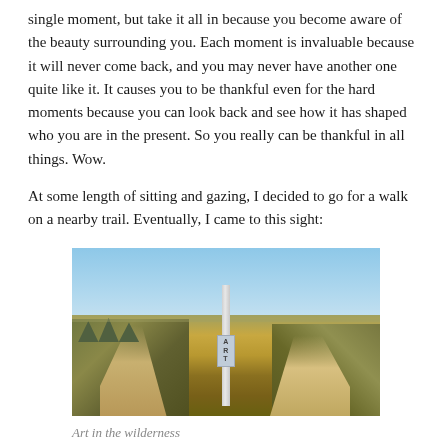single moment, but take it all in because you become aware of the beauty surrounding you. Each moment is invaluable because it will never come back, and you may never have another one quite like it. It causes you to be thankful even for the hard moments because you can look back and see how it has shaped who you are in the present. So you really can be thankful in all things. Wow.
At some length of sitting and gazing, I decided to go for a walk on a nearby trail. Eventually, I came to this sight:
[Figure (photo): A trail in the wilderness with a fork in the path. A sign post reading 'ART' stands in the center where the trail splits. Open grasslands and scrub with a clear blue sky in the background, and trees visible on the far left horizon.]
Art in the wilderness